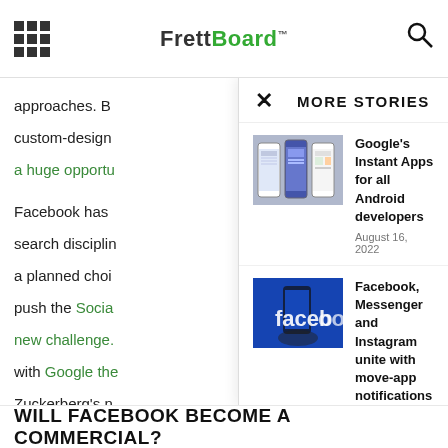FrettBoard™
approaches. B...
custom-design...
a huge opportu...
Facebook has...
search disciplin...
a planned choi...
push the Socia...
new challenge...
with Google the...
Zuckerberg's n...
have the Open...
MORE STORIES
[Figure (screenshot): Three smartphone screens shown side by side]
Google's Instant Apps for all Android developers
August 16, 2022
[Figure (photo): Hand holding phone with facebook logo on blue background]
Facebook, Messenger and Instagram unite with move-app notifications
December 31, 2021
[Figure (photo): Aerial view of airplane wing over mountains]
An Infinite Flight Simulator Modding Platform
June 24, 2022
WILL FACEBOOK BECOME A COMMERCIAL?